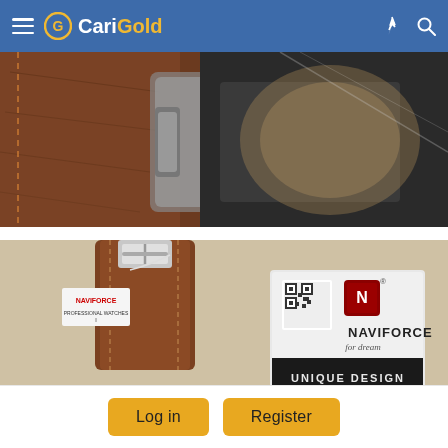CariGold
[Figure (photo): Close-up photo of a watch with brown leather strap, showing metallic watch case details and strap texture]
[Figure (photo): Photo of a brown leather watch strap with silver buckle and a Naviforce branded tag, alongside a Naviforce 'for dream' branded card showing 'UNIQUE DESIGN' and a QR code]
Log in
Register